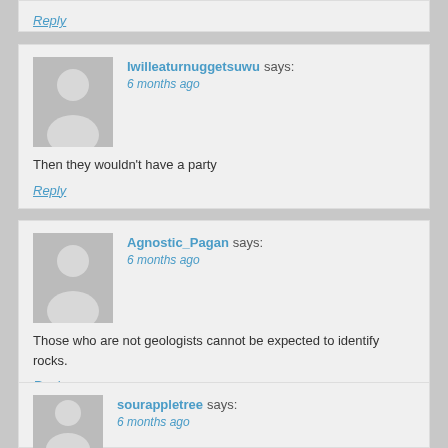Reply
Iwilleaturnuggetsuwu says:
6 months ago
Then they wouldn't have a party
Reply
Agnostic_Pagan says:
6 months ago
Those who are not geologists cannot be expected to identify rocks.
Reply
sourappletree says:
6 months ago